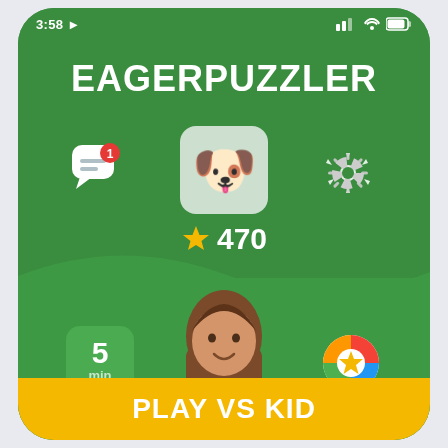3:58
EagerPuzzler
[Figure (screenshot): Mobile app screenshot of EagerPuzzler game showing a dog emoji avatar, star score of 470, chat icon with notification badge showing 1, gear/settings icon, a cartoon girl character, a 5 min timer box, a colorful achievement star badge, and a yellow PLAY VS KID button at the bottom on a green background.]